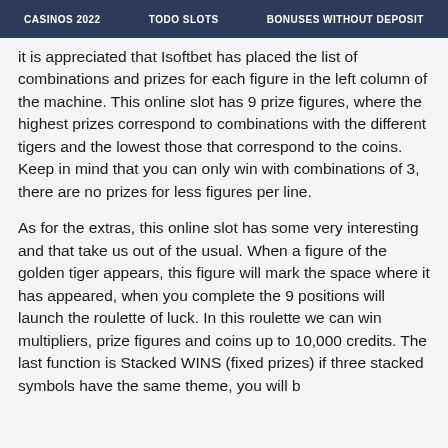CASINOS 2022   TODO SLOTS   BONUSES WITHOUT DEPOSIT
it is appreciated that Isoftbet has placed the list of combinations and prizes for each figure in the left column of the machine. This online slot has 9 prize figures, where the highest prizes correspond to combinations with the different tigers and the lowest those that correspond to the coins. Keep in mind that you can only win with combinations of 3, there are no prizes for less figures per line.
As for the extras, this online slot has some very interesting and that take us out of the usual. When a figure of the golden tiger appears, this figure will mark the space where it has appeared, when you complete the 9 positions will launch the roulette of luck. In this roulette we can win multipliers, prize figures and coins up to 10,000 credits. The last function is Stacked WINS (fixed prizes) if three stacked symbols have the same theme, you will b